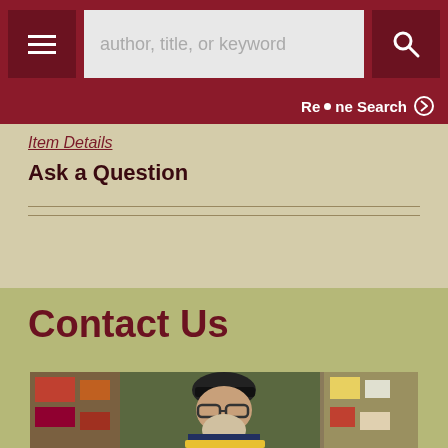author, title, or keyword
Refine Search
Item Details
Ask a Question
Contact Us
[Figure (photo): A bearded man wearing glasses and a dark baseball cap standing inside a bookstore surrounded by books and shelves.]